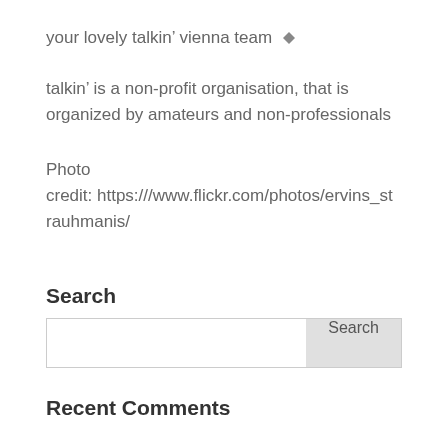your lovely talkin’ vienna team ◆
talkin’ is a non-profit organisation, that is organized by amateurs and non-professionals
Photo credit: https:///www.flickr.com/photos/ervins_strauhmanis/
Search
Recent Comments